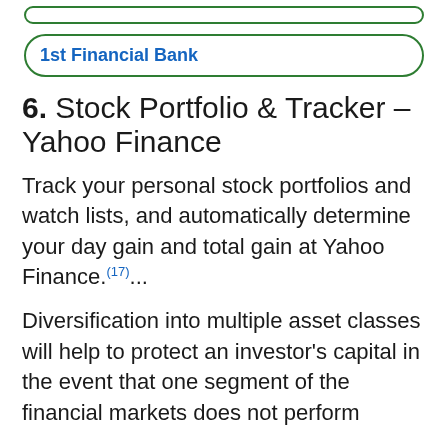1st Financial Bank
6. Stock Portfolio & Tracker – Yahoo Finance
Track your personal stock portfolios and watch lists, and automatically determine your day gain and total gain at Yahoo Finance.(17)...
Diversification into multiple asset classes will help to protect an investor's capital in the event that one segment of the financial markets does not perform